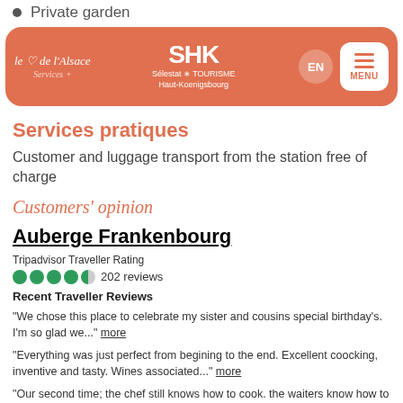Private garden
Private patio
[Figure (screenshot): Navigation banner with orange/terracotta background. Contains 'le coeur de l'Alsace' logo text, SHK Sélestat Tourisme Haut-Koenigsbourg logo, EN language button, and MENU button.]
Services pratiques
Customer and luggage transport from the station free of charge
Customers' opinion
Auberge Frankenbourg
Tripadvisor Traveller Rating
202 reviews
Recent Traveller Reviews
“We chose this place to celebrate my sister and cousins special birthday’s. I’m so glad we...” more
“Everything was just perfect from begining to the end. Excellent coocking, inventive and tasty. Wines associated...” more
“Our second time; the chef still knows how to cook. the waiters know how to serve...” more